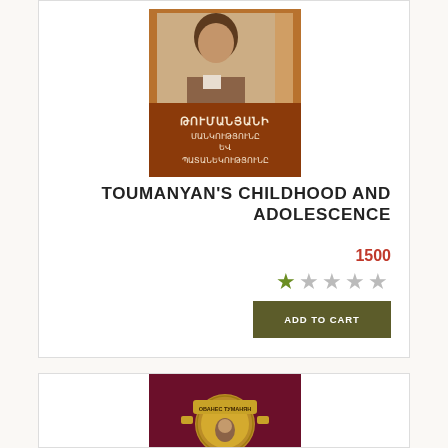[Figure (illustration): Book cover for Toumanyan's Childhood and Adolescence — sepia portrait photo of young man at top, Armenian text title on brown/orange background below]
TOUMANYAN'S CHILDHOOD AND ADOLESCENCE
1500
★☆☆☆☆ (1 star out of 5)
ADD TO CART
[Figure (illustration): Book cover with dark red/maroon background and gold medallion/badge with Cyrillic text 'ОВАНЕС ТУМАНЯН']